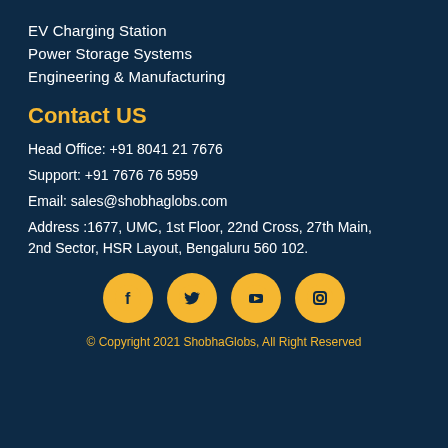EV Charging Station
Power Storage Systems
Engineering & Manufacturing
Contact US
Head Office: +91 8041 21 7676
Support: +91 7676 76 5959
Email: sales@shobhaglobs.com
Address :1677, UMC, 1st Floor, 22nd Cross, 27th Main, 2nd Sector, HSR Layout, Bengaluru 560 102.
[Figure (illustration): Four social media icons (Facebook, Twitter, YouTube, Instagram) as golden circles with dark icons]
© Copyright 2021 ShobhaGlobs, All Right Reserved